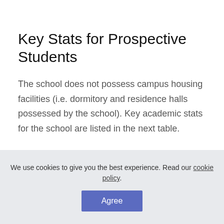Key Stats for Prospective Students
The school does not possess campus housing facilities (i.e. dormitory and residence halls possessed by the school). Key academic stats for the school are listed in the next table.
We use cookies to give you the best experience. Read our cookie policy.